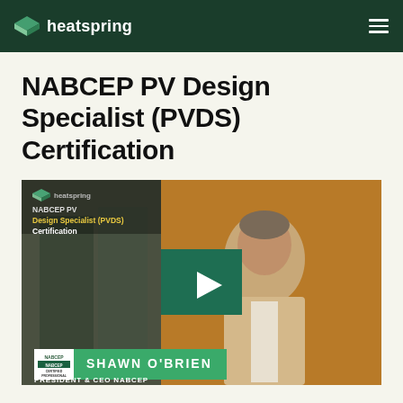heatspring
NABCEP PV Design Specialist (PVDS) Certification
[Figure (screenshot): Video thumbnail showing a man in a beige blazer. Overlay text reads 'NABCEP PV Design Specialist (PVDS) Certification' with a green play button in the center. A name bar at the bottom shows 'Shawn O'Brien' with a NABCEP badge. Text at very bottom reads 'President & CEO NABCEP'.]